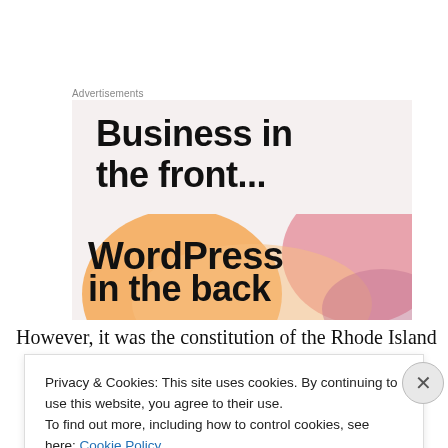Advertisements
[Figure (screenshot): Advertisement image showing 'Business in the front...' and 'WordPress in the back' text on a light pink/peach background with colorful gradient shapes]
However, it was the constitution of the Rhode Island
Privacy & Cookies: This site uses cookies. By continuing to use this website, you agree to their use.
To find out more, including how to control cookies, see here: Cookie Policy
Close and accept